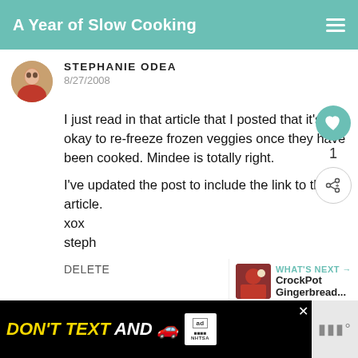A Year of Slow Cooking
STEPHANIE ODEA
8/27/2008
I just read in that article that I posted that it's okay to re-freeze frozen veggies once they have been cooked. Mindee is totally right.

I've updated the post to include the link to the article.
xox
steph
DELETE
[Figure (other): What's Next section showing CrockPot Gingerbread thumbnail and label]
[Figure (other): Advertisement banner: DON'T TEXT AND [car emoji] with ad badge and NHTSA logo]